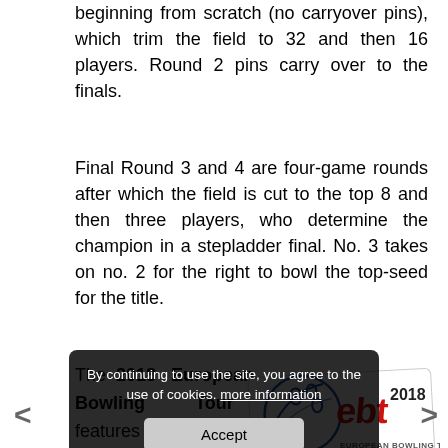beginning from scratch (no carryover pins), which trim the field to 32 and then 16 players. Round 2 pins carry over to the finals.
Final Round 3 and 4 are four-game rounds after which the field is cut to the top 8 and then three players, who determine the champion in a stepladder final. No. 3 takes on no. 2 for the right to bowl the top-seed for the title.
The 2018 European Bowling Tour features 13 tournaments in 10 ... ries includ ... "platinum", two ... , three "silver", three "bronze" and three "satellite" events, which
[Figure (logo): EBT 2018 European Bowling Tour logo — bowling ball with blue streaks and red stylized 'ebt' text with '2018' and 'EUROPEAN BOWLING TOUR' text]